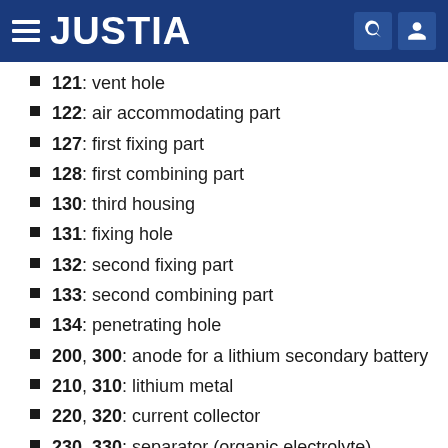JUSTIA
121: vent hole
122: air accommodating part
127: first fixing part
128: first combining part
130: third housing
131: fixing hole
132: second fixing part
133: second combining part
134: penetrating hole
200, 300: anode for a lithium secondary battery
210, 310: lithium metal
220, 320: current collector
230, 330: separator (organic electrolyte)
240, 340: solid electrolyte
250, 350: sealing part
400: cathode